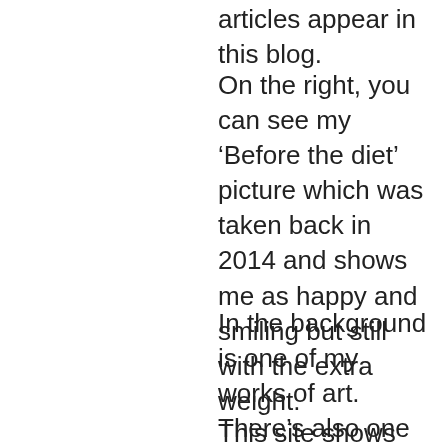articles appear in this blog.
On the right, you can see my ‘Before the diet’ picture which was taken back in 2014 and shows me as happy and smiling but still with the extra weight.
In the background is one of my works of art.  There’s also one in the header.
This site shows my art and